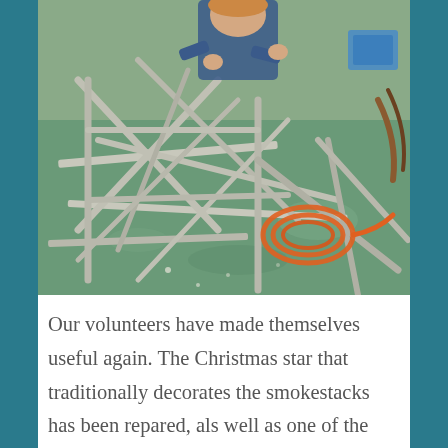[Figure (photo): A person working on a metal star-shaped frame structure laid flat on a green surface outdoors. An orange extension cord is coiled nearby. The frame appears to be a large Christmas star decoration being repaired.]
Our volunteers have made themselves useful again. The Christmas star that traditionally decorates the smokestacks has been repared, als well as one of the handles of the starboard telegraph on the bridge that has been demolished by a